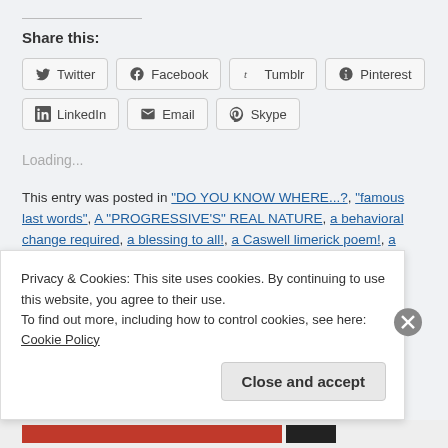Share this:
Twitter  Facebook  Tumblr  Pinterest  LinkedIn  Email  Skype
Loading...
This entry was posted in "DO YOU KNOW WHERE...?, "famous last words", A "PROGRESSIVE'S" REAL NATURE, a behavioral change required, a blessing to all!, a Caswell limerick poem!, a
Privacy & Cookies: This site uses cookies. By continuing to use this website, you agree to their use.
To find out more, including how to control cookies, see here: Cookie Policy
Close and accept